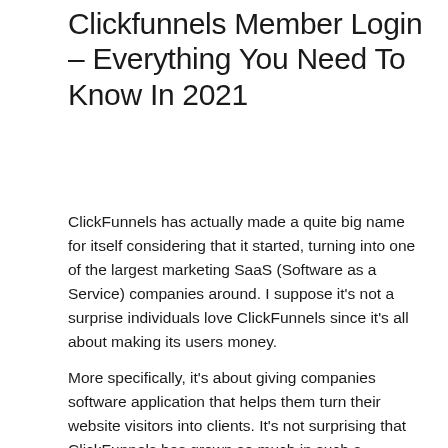Clickfunnels Member Login – Everything You Need To Know In 2021
ClickFunnels has actually made a quite big name for itself considering that it started, turning into one of the largest marketing SaaS (Software as a Service) companies around. I suppose it's not a surprise individuals love ClickFunnels since it's all about making its users money.
More specifically, it's about giving companies software application that helps them turn their website visitors into clients. It's not surprising that ClickFunnels has grown so much in such a